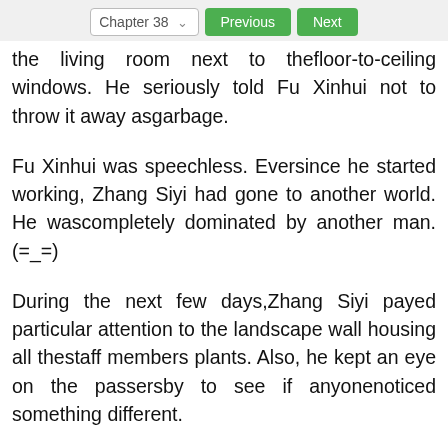Chapter 38  Previous  Next
the living room next to thefloor-to-ceiling windows. He seriously told Fu Xinhui not to throw it away asgarbage.
Fu Xinhui was speechless. Eversince he started working, Zhang Siyi had gone to another world. He wascompletely dominated by another man. (=_=)
During the next few days,Zhang Siyi payed particular attention to the landscape wall housing all thestaff members plants. Also, he kept an eye on the passersby to see if anyonenoticed something different.
Fortunately, no one has saidanything about it. Near